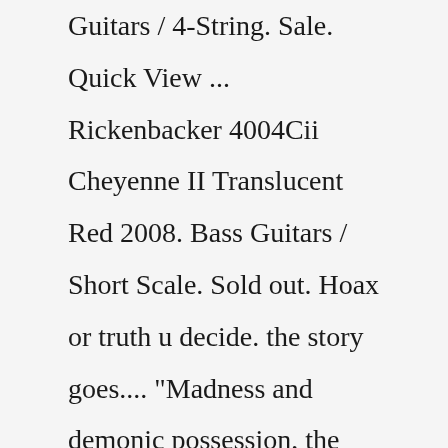Guitars / 4-String. Sale. Quick View ... Rickenbacker 4004Cii Cheyenne II Translucent Red 2008. Bass Guitars / Short Scale. Sold out. Hoax or truth u decide. the story goes.... "Madness and demonic possession, the legend goes, comes in the elegant form of a blood red Rickenbacker bass. It was back in the summer of 1969, the Summer of Love, that the Red Rick possessed it's first soul. Evan McCue, bass player for Fallic Fish was the first